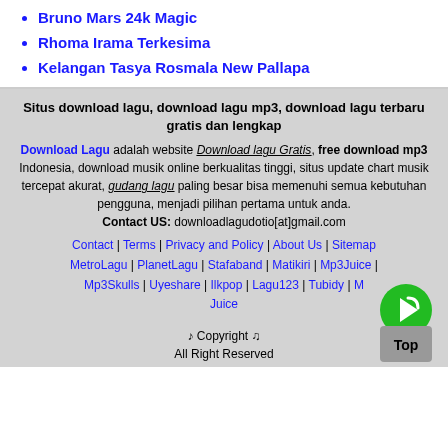Bruno Mars 24k Magic
Rhoma Irama Terkesima
Kelangan Tasya Rosmala New Pallapa
Situs download lagu, download lagu mp3, download lagu terbaru gratis dan lengkap
Download Lagu adalah website Download lagu Gratis, free download mp3 Indonesia, download musik online berkualitas tinggi, situs update chart musik tercepat akurat, gudang lagu paling besar bisa memenuhi semua kebutuhan pengguna, menjadi pilihan pertama untuk anda. Contact US: downloadlagudotio[at]gmail.com
Contact | Terms | Privacy and Policy | About Us | Sitemap MetroLagu | PlanetLagu | Stafaband | Matikiri | Mp3Juice | Mp3Skulls | Uyeshare | Ilkpop | Lagu123 | Tubidy | Mp3Juice
♪ Copyright ♫ All Right Reserved